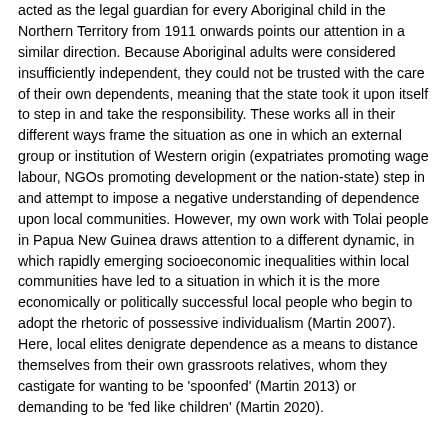acted as the legal guardian for every Aboriginal child in the Northern Territory from 1911 onwards points our attention in a similar direction. Because Aboriginal adults were considered insufficiently independent, they could not be trusted with the care of their own dependents, meaning that the state took it upon itself to step in and take the responsibility. These works all in their different ways frame the situation as one in which an external group or institution of Western origin (expatriates promoting wage labour, NGOs promoting development or the nation-state) step in and attempt to impose a negative understanding of dependence upon local communities. However, my own work with Tolai people in Papua New Guinea draws attention to a different dynamic, in which rapidly emerging socioeconomic inequalities within local communities have led to a situation in which it is the more economically or politically successful local people who begin to adopt the rhetoric of possessive individualism (Martin 2007). Here, local elites denigrate dependence as a means to distance themselves from their own grassroots relatives, whom they castigate for wanting to be 'spoonfed' (Martin 2013) or demanding to be 'fed like children' (Martin 2020).